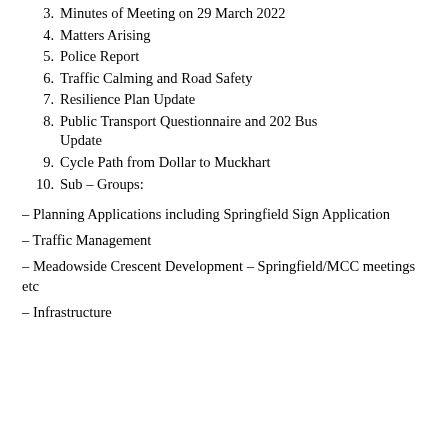3.  Minutes of Meeting on 29 March 2022
4.  Matters Arising
5.  Police Report
6.  Traffic Calming and Road Safety
7.  Resilience Plan Update
8.  Public Transport Questionnaire and 202 Bus Update
9.  Cycle Path from Dollar to Muckhart
10.  Sub – Groups:
– Planning Applications including Springfield Sign Application
– Traffic Management
– Meadowside Crescent Development – Springfield/MCC meetings etc
– Infrastructure